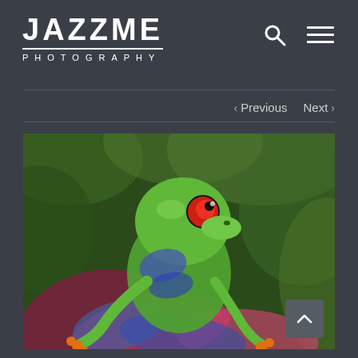[Figure (logo): JAZZME PHOTOGRAPHY logo in white text with horizontal rule and spaced subtitle]
[Figure (infographic): Search icon (magnifying glass) and hamburger menu icon in white]
< Previous   Next >
[Figure (photo): Close-up photo of a red-eyed tree frog perched on colorful tropical leaves, with vivid green background foliage]